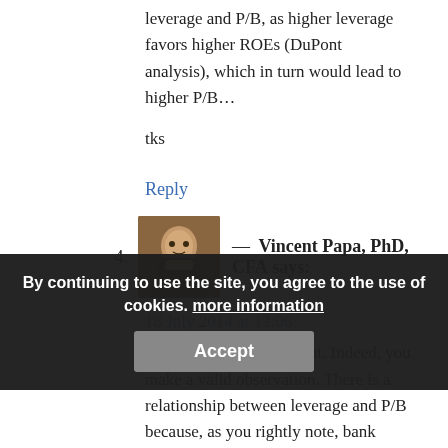In my view there is a relationship between leverage and P/B, as higher leverage favors higher ROEs (DuPont analysis), which in turn would lead to higher P/B…
tks
Reply
4. — Vincent Papa, PhD, CFA says:
18 July 2014 at 12:06
Thanks for your comment. Indeed, you make a valid observation. There is a relationship between leverage and P/B because, as you rightly note, bank returns were able to enjoy excess leverage. However, this relationship can also be seen as a second order effect. This can explain
By continuing to use the site, you agree to the use of cookies. more information
Accept